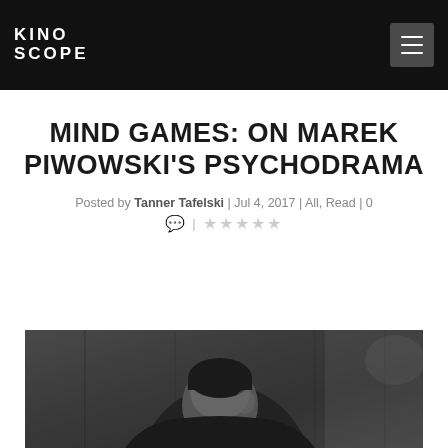KINOSCOPE
MIND GAMES: ON MAREK PIWOWSKI'S PSYCHODRAMA
Posted by Tanner Tafelski | Jul 4, 2017 | All, Read | 0
[Figure (photo): Black and white photograph of a man viewed from behind/side, partial profile, dark film-still style image]